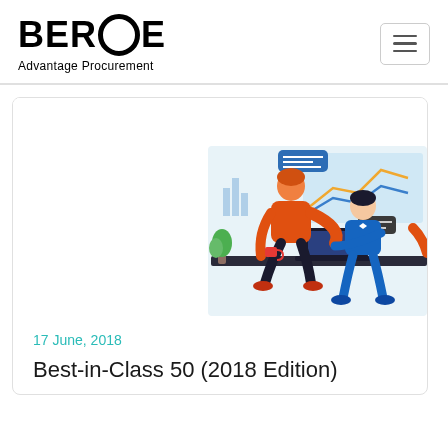BEROE Advantage Procurement
[Figure (illustration): Business analytics illustration showing two people (one in orange top, one in blue) working at a desk with a laptop, surrounded by charts, graphs, speech bubbles, and data visualizations on a light blue background]
17 June, 2018
Best-in-Class 50 (2018 Edition)